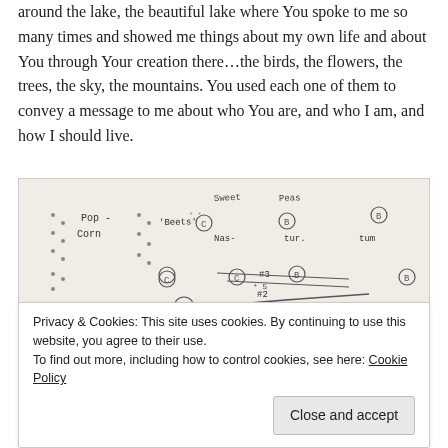around the lake, the beautiful lake where You spoke to me so many times and showed me things about my own life and about You through Your creation there…the birds, the flowers, the trees, the sky, the mountains. You used each one of them to convey a message to me about who You are, and who I am, and how I should live.
[Figure (illustration): A hand-drawn sketch on paper showing a garden layout with handwritten labels including 'Pop Corn', 'Beets', 'Sweet Peas', 'Nas-tur-tium', circled letters (C, B), numbers, and curved lines suggesting garden rows or paths. The bottom shows a photographic scene with trees.]
Privacy & Cookies: This site uses cookies. By continuing to use this website, you agree to their use. To find out more, including how to control cookies, see here: Cookie Policy